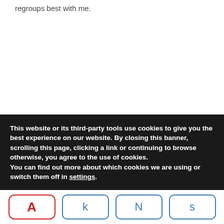regroups best with me.
This website or its third-party tools use cookies to give you the best experience on our website. By closing this banner, scrolling this page, clicking a link or continuing to browse otherwise, you agree to the use of cookies. You can find out more about which cookies we are using or switch them off in settings.
A
k
N
s